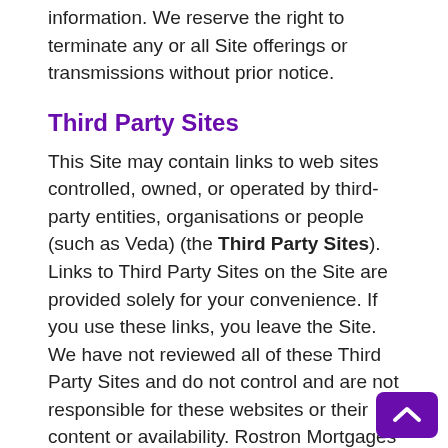information. We reserve the right to terminate any or all Site offerings or transmissions without prior notice.
Third Party Sites
This Site may contain links to web sites controlled, owned, or operated by third-party entities, organisations or people (such as Veda) (the Third Party Sites). Links to Third Party Sites on the Site are provided solely for your convenience. If you use these links, you leave the Site. We have not reviewed all of these Third Party Sites and do not control and are not responsible for these websites or their content or availability. Rostron Mortgages therefore does not endorse or make any representations about them, or any material found there, or any results that may be obtained from using them. If you decide to acce...